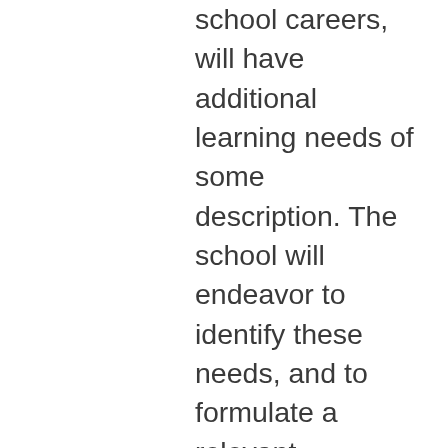school careers, will have additional learning needs of some description. The school will endeavor to identify these needs, and to formulate a relevant programme, in cooperation with parents/carers for each child's particular circumstances. The assessment will aid in recognizing the needs of able and talented children as well as those having learning needs. If a child has additional learning needs, then the extent of the child's need is discussed with the parents/carers. The school will then produce a programme for the pupil that can lead to individual teaching or group. A copy of the school's Additional Learning Needs Policy will be available from the school office. St. Oswald's has a well-resourced department for teaching small groups and for individual pupil support. An